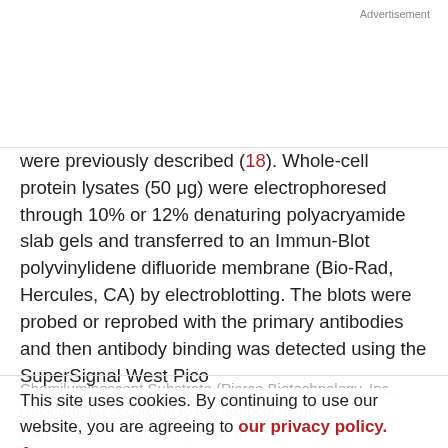Advertisement
were previously described (18). Whole-cell protein lysates (50 μg) were electrophoresed through 10% or 12% denaturing polyacryamide slab gels and transferred to an Immun-Blot polyvinylidene difluoride membrane (Bio-Rad, Hercules, CA) by electroblotting. The blots were probed or reprobed with the primary antibodies and then antibody binding was detected using the SuperSignal West Pico
Chemiluminescent Substrate (Pierce Biotechnology, Inc., Rockford, IL) according to the protocol of the manufacturer. Rabbit polyclonal antibodies against caspase-8 and poly(ADP-ribose) polymerase were
This site uses cookies. By continuing to use our website, you are agreeing to our privacy policy. Accept